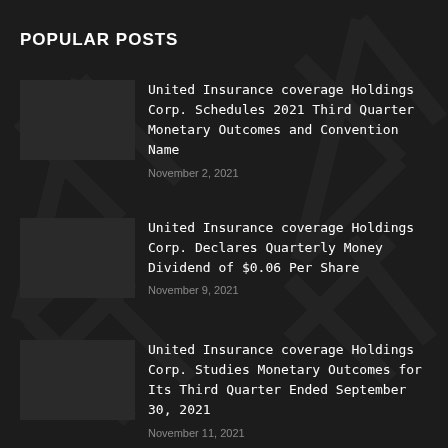POPULAR POSTS
United Insurance coverage Holdings Corp. Schedules 2021 Third Quarter Monetary Outcomes and Convention Name
November 2, 2021
United Insurance coverage Holdings Corp. Declares Quarterly Money Dividend of $0.06 Per Share
November 9, 2021
United Insurance coverage Holdings Corp. Studies Monetary Outcomes for Its Third Quarter Ended September 30, 2021
November 11, 2021